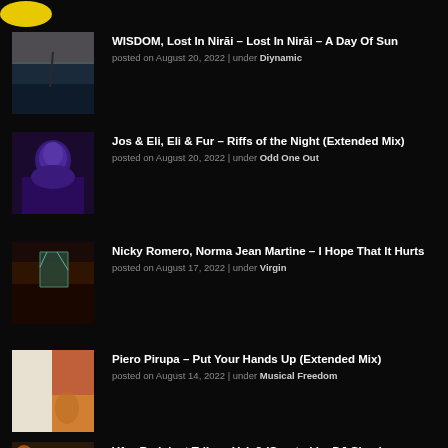[Figure (logo): Yellow circular logo partially visible at top left]
WISDOM, Lost In Nirāi – Lost In Nirāi – A Day Of Sun
posted on August 20, 2022 | under Diynamic
Jos & Eli, Eli & Fur – Riffs of the Night (Extended Mix)
posted on August 20, 2022 | under Odd One Out
Nicky Romero, Norma Jean Martine – I Hope That It Hurts
posted on August 17, 2022 | under Virgin
Piero Pirupa – Put Your Hands Up (Extended Mix)
posted on August 14, 2022 | under Musical Freedom
VA – Redolent Tribes, Vol. 2 (Curated by DJ Chus)
posted on August 10, 2022 | under REDOLENT